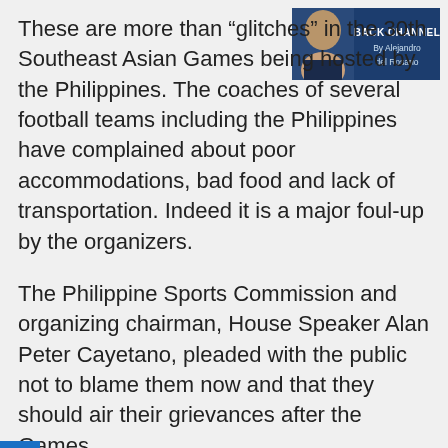[Figure (photo): Banner image in top-right corner showing 'BACK CHANNEL By Alejandro del Rosario' with a photo of a person against a dark blue background]
These are more than “glitches” in the 30th Southeast Asian Games being hosted by the Philippines. The coaches of several football teams including the Philippines have complained about poor accommodations, bad food and lack of transportation. Indeed it is a major foul-up by the organizers.
The Philippine Sports Commission and organizing chairman, House Speaker Alan Peter Cayetano, pleaded with the public not to blame them now and that they should air their grievances after the Games.
Cayetano said all Filipinos are hosts of the SEA Games. Thus, we must be one in spirit and as a country.